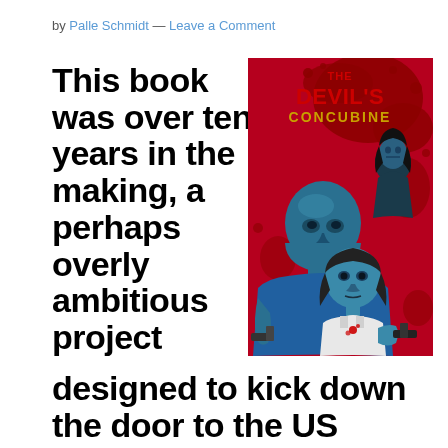by Palle Schmidt — Leave a Comment
This book was over ten years in the making, a perhaps overly ambitious project designed to kick down the door to the US market
[Figure (illustration): Book cover for 'The Devil's Concubine' showing three figures rendered in blue/cyan tones against a red blood-splatter background. A bald muscular man, a woman in a white tank top holding a gun, and a dark-haired woman in the background. Title text 'THE DEVIL'S CONCUBINE' in red letters at the top.]